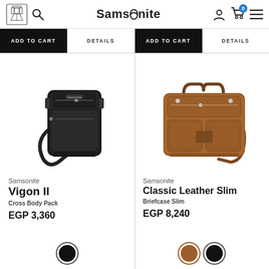Samsonite — navigation bar with logo, search, user, cart (0 items), menu
ADD TO CART | DETAILS | ADD TO CART | DETAILS
[Figure (photo): Black Samsonite Vigon II cross body pack bag]
Samsonite
Vigon II
Cross Body Pack
EGP 3,360
[Figure (photo): Brown Samsonite Classic Leather Slim briefcase with shoulder strap]
Samsonite
Classic Leather Slim
Briefcase Slim
EGP 8,240